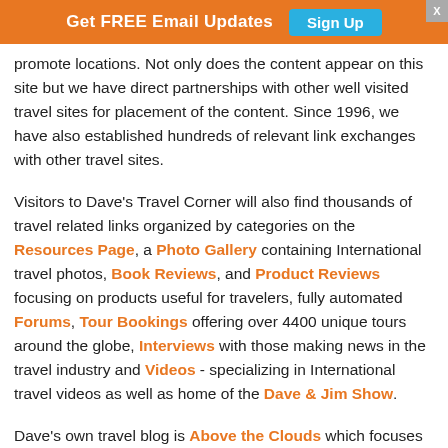Get FREE Email Updates  Sign Up
promote locations. Not only does the content appear on this site but we have direct partnerships with other well visited travel sites for placement of the content. Since 1996, we have also established hundreds of relevant link exchanges with other travel sites.
Visitors to Dave's Travel Corner will also find thousands of travel related links organized by categories on the Resources Page, a Photo Gallery containing International travel photos, Book Reviews, and Product Reviews focusing on products useful for travelers, fully automated Forums, Tour Bookings offering over 4400 unique tours around the globe, Interviews with those making news in the travel industry and Videos - specializing in International travel videos as well as home of the Dave & Jim Show.
Dave's own travel blog is Above the Clouds which focuses on International Travel & Lifestyle.